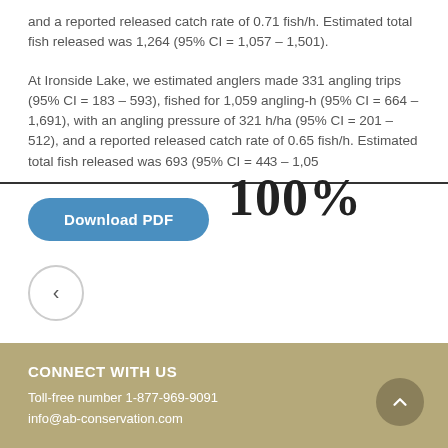and a reported released catch rate of 0.71 fish/h. Estimated total fish released was 1,264 (95% CI = 1,057 – 1,501).
At Ironside Lake, we estimated anglers made 331 angling trips (95% CI = 183 – 593), fished for 1,059 angling-h (95% CI = 664 – 1,691), with an angling pressure of 321 h/ha (95% CI = 201 – 512), and a reported released catch rate of 0.65 fish/h. Estimated total fish released was 693 (95% CI = 443 – 1,05…
[Figure (infographic): 100% overlay text displayed prominently over the document text]
Download PDF
< (navigation back button)
CONNECT WITH US
Toll-free number  1-877-969-9091
info@ab-conservation.com